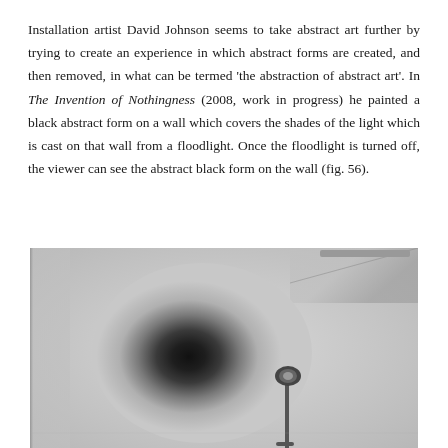Installation artist David Johnson seems to take abstract art further by trying to create an experience in which abstract forms are created, and then removed, in what can be termed 'the abstraction of abstract art'. In The Invention of Nothingness (2008, work in progress) he painted a black abstract form on a wall which covers the shades of the light which is cast on that wall from a floodlight. Once the floodlight is turned off, the viewer can see the abstract black form on the wall (fig. 56).
[Figure (photo): Black and white photograph of an art installation showing a dark circular/oval shadow on a wall with a floodlight on a stand visible in the foreground]